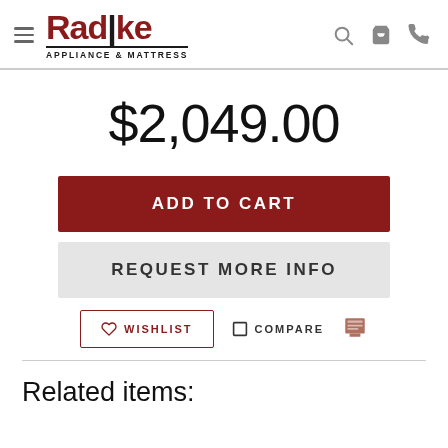[Figure (logo): Radtke Appliance & Mattress logo with hamburger menu icon on the left, and search, cart, phone icons on the right]
$2,049.00
ADD TO CART
REQUEST MORE INFO
WISHLIST
COMPARE
Related items: